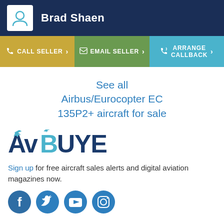Brad Shaen
CALL SELLER > EMAIL SELLER > ARRANGE CALLBACK >
See all Airbus/Eurocopter EC 135P2+ aircraft for sale
[Figure (logo): AvBuyer logo with stylized A and airplane silhouette]
Sign up for free aircraft sales alerts and digital aviation magazines now.
[Figure (infographic): Social media icons: Facebook, Twitter, YouTube, Instagram]